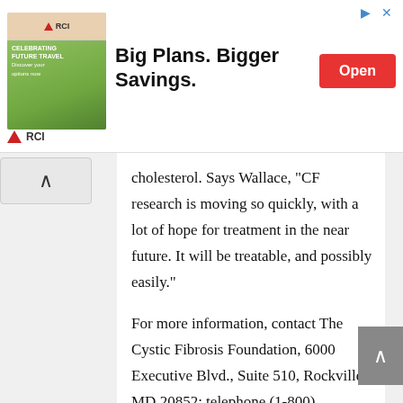[Figure (screenshot): RCI advertisement banner: 'Big Plans. Bigger Savings.' with an Open button and RCI logo]
cholesterol. Says Wallace, "CF research is moving so quickly, with a lot of hope for treatment in the near future. It will be treatable, and possibly easily."
For more information, contact The Cystic Fibrosis Foundation, 6000 Executive Blvd., Suite 510, Rockville, MD 20852; telephone (1-800) FIGHTCS.